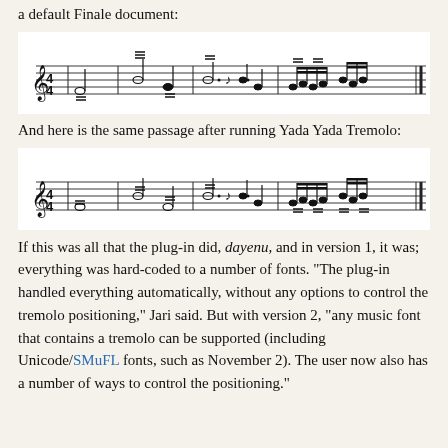Here is the default placement of tremolo articulations in a default Finale document:
[Figure (illustration): Musical staff showing tremolo articulations in default Finale document placement — treble clef, 4/4 time, with various notes carrying tremolo markings above them]
And here is the same passage after running Yada Yada Tremolo:
[Figure (illustration): Musical staff showing same tremolo passage after running Yada Yada Tremolo plug-in — treble clef, 4/4 time, with tremolo markings repositioned on the notes]
If this was all that the plug-in did, dayenu, and in version 1, it was; everything was hard-coded to a number of fonts. “The plug-in handled everything automatically, without any options to control the tremolo positioning,” Jari said. But with version 2, “any music font that contains a tremolo can be supported (including Unicode/SMuFL fonts, such as November 2). The user now also has a number of ways to control the positioning.”